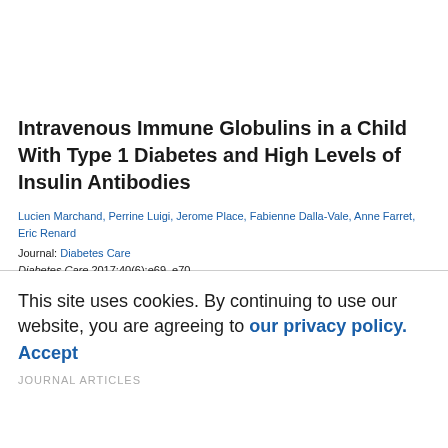Intravenous Immune Globulins in a Child With Type 1 Diabetes and High Levels of Insulin Antibodies
Lucien Marchand, Perrine Luigi, Jerome Place, Fabienne Dalla-Vale, Anne Farret, Eric Renard
Journal: Diabetes Care
Diabetes Care 2017;40(6):e69–e70
DOI: https://doi.org/10.2337/dc16-2420
Published: 06 April 2017
This site uses cookies. By continuing to use our website, you are agreeing to our privacy policy.
Accept
JOURNAL ARTICLES